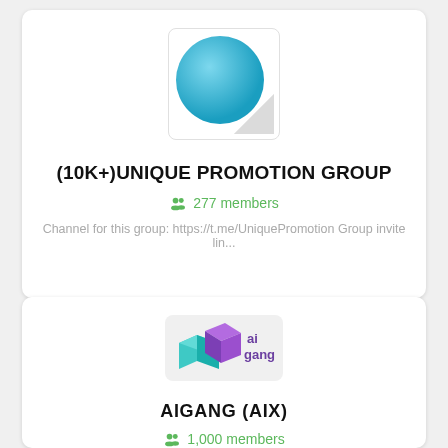[Figure (logo): Teal/blue sticker-peel circle logo for (10K+)UNIQUE PROMOTION GROUP]
(10K+)UNIQUE PROMOTION GROUP
277 members
Channel for this group: https://t.me/UniquePromotion Group invite lin...
[Figure (logo): ai gang logo with teal and purple 3D block shapes and text 'ai gang' in purple]
AIGANG (AIX)
1,000 members